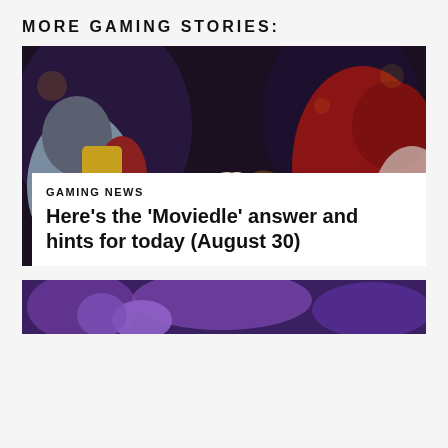MORE GAMING STORIES:
[Figure (photo): People sitting in cinema seats reaching into a large orange popcorn bucket]
GAMING NEWS
Here’s the ‘Moviedle’ answer and hints for today (August 30)
[Figure (photo): Partial view of an anime-style character with purple tones, bottom portion of second card]